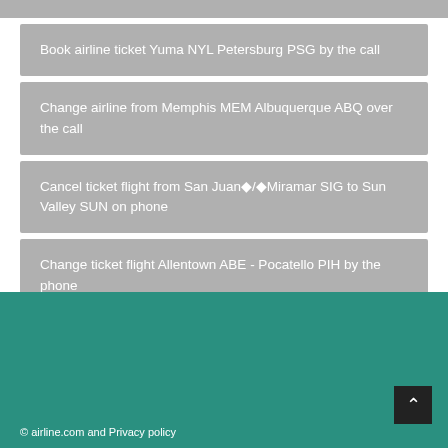Book airline ticket Yuma NYL Petersburg PSG by the call
Change airline from Memphis MEM Albuquerque ABQ over the call
Cancel ticket flight from San Juan�/�Miramar SIG to Sun Valley SUN on phone
Change ticket flight Allentown ABE - Pocatello PIH by the phone
© airline.com and Privacy policy